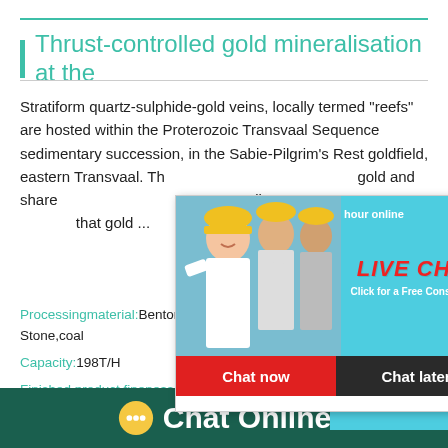Thrust-controlled gold mineralisation at the
Stratiform quartz-sulphide-gold veins, locally termed "reefs" are hosted within the Proterozoic Transvaal Sequence sedimentary succession, in the Sabie-Pilgrim's Rest goldfield, eastern Transvaal. Th... gold and share... Australia. Det... that gold ...
[Figure (screenshot): Live chat popup overlay with construction workers photo, LIVE CHAT heading in red italic, 'Click for a Free Consultation' text, 'Chat now' red button and 'Chat later' dark button. Right panel shows industrial machinery and 'Click me to chat>>' blue button.]
Processingmaterial:Bentonite,construction wa... Stone,coal
Capacity:198T/H
Finished product fineness:0-10mm，10-20mm
Chat Online